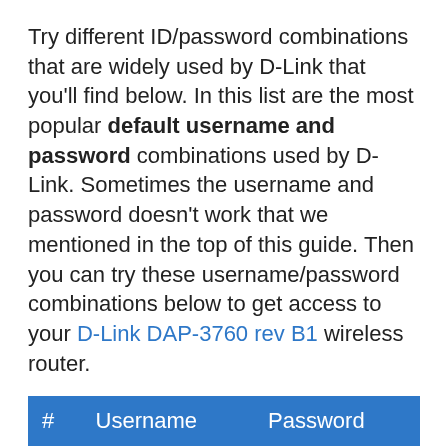Try different ID/password combinations that are widely used by D-Link that you'll find below. In this list are the most popular default username and password combinations used by D-Link. Sometimes the username and password doesn't work that we mentioned in the top of this guide. Then you can try these username/password combinations below to get access to your D-Link DAP-3760 rev B1 wireless router.
| # | Username | Password |
| --- | --- | --- |
| 1 | admin | (blank) |
| 2 | admin |  |
| 3 | admin | admin |